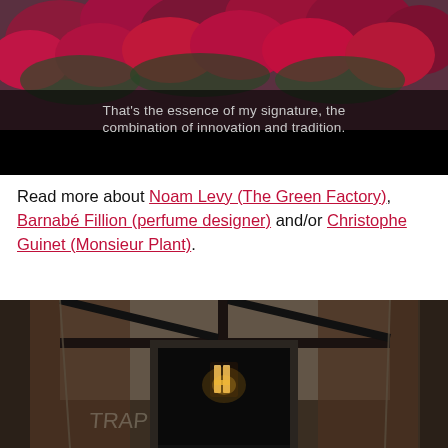[Figure (photo): Photo of red/pink roses with overlaid text: 'That's the essence of my signature, the combination of innovation and tradition.' on a dark/black bar background.]
Read more about Noam Levy (The Green Factory), Barnabé Fillion (perfume designer) and/or Christophe Guinet (Monsieur Plant).
[Figure (photo): Interior photo showing a dark room with a window, geometric black cross frame, and a pendant light fixture visible through a doorway.]